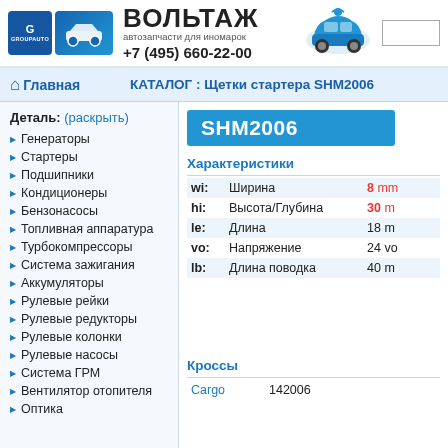ВОЛЬТАЖ — автозапчасти для иномарок +7 (495) 660-22-00
Главная
КАТАЛОГ : Щетки стартера SHM2006
SHM2006
Деталь: (раскрыть)
Генераторы
Стартеры
Подшипники
Кондиционеры
Бензонасосы
Топливная аппаратура
Турбокомпрессоры
Система зажигания
Аккумуляторы
Рулевые рейки
Рулевые редукторы
Рулевые колонки
Рулевые насосы
Система ГРМ
Вентилятор отопителя
Оптика
Характеристики
|  |  |  |
| --- | --- | --- |
| wi: | Ширина | 8 mm |
| hi: | Высота/Глубина | 30 m |
| le: | Длина | 18 m |
| vo: | Напряжение | 24 vo |
| lb: | Длина поводка | 40 m |
Кроссы
| Cargo | 142006 |